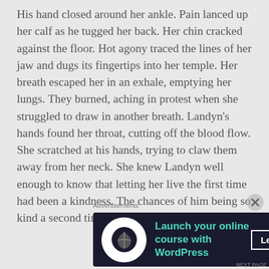His hand closed around her ankle. Pain lanced up her calf as he tugged her back. Her chin cracked against the floor. Hot agony traced the lines of her jaw and dugs its fingertips into her temple. Her breath escaped her in an exhale, emptying her lungs. They burned, aching in protest when she struggled to draw in another breath. Landyn's hands found her throat, cutting off the blood flow. She scratched at his hands, trying to claw them away from her neck. She knew Landyn well enough to know that letting her live the first time had been a kindness. The chances of him being so kind a second time were slim to
Advertisements
[Figure (other): Advertisement banner for WordPress online course with dark background, circular tree icon, teal headline text 'Launch your online course with WordPress', and 'Learn More' button]